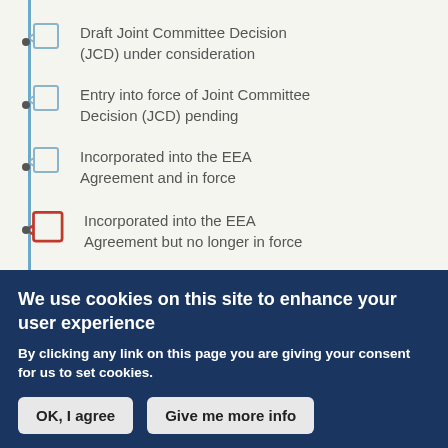Draft Joint Committee Decision (JCD) under consideration
Entry into force of Joint Committee Decision (JCD) pending
Incorporated into the EEA Agreement and in force
Incorporated into the EEA Agreement but no longer in force
We use cookies on this site to enhance your user experience
By clicking any link on this page you are giving your consent for us to set cookies.